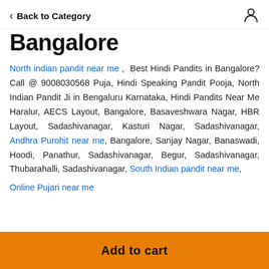Back to Category
Bangalore
North indian pandit near me ,  Best Hindi Pandits in Bangalore? Call @ 9008030568 Puja, Hindi Speaking Pandit Pooja, North Indian Pandit Ji in Bengaluru Karnataka, Hindi Pandits Near Me Haralur, AECS Layout, Bangalore, Basaveshwara Nagar, HBR Layout, Sadashivanagar, Kasturi Nagar, Sadashivanagar, Andhra Purohit near me, Bangalore, Sanjay Nagar, Banaswadi, Hoodi, Panathur, Sadashivanagar, Begur, Sadashivanagar, Thubarahalli, Sadashivanagar, South Indian pandit near me,
Online Pujari near me
Add to cart